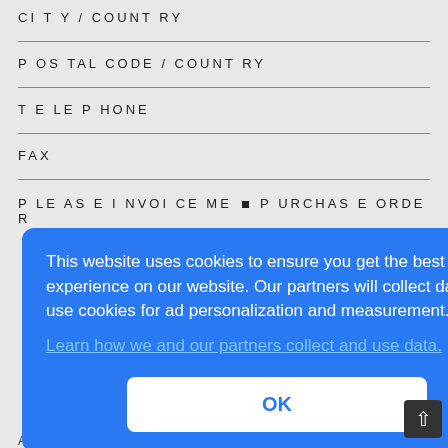CITY / COUNTRY
POSTAL CODE / COUNTRY
TELEPHONE
FAX
PLEASE INVOICE ME ■ PURCHASE ORDER
This website uses cookies to ensure you get the best experience on our website. Our partners will collect data and use cookies for ad personalization and measurement.
Learn how we and our partners collect and use data.
OK
Account No. 14937-